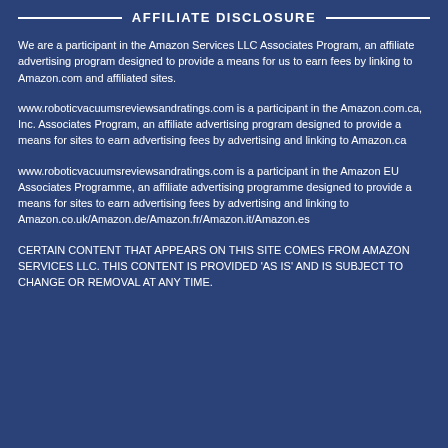AFFILIATE DISCLOSURE
We are a participant in the Amazon Services LLC Associates Program, an affiliate advertising program designed to provide a means for us to earn fees by linking to Amazon.com and affiliated sites.
www.roboticvacuumsreviewsandratings.com is a participant in the Amazon.com.ca, Inc. Associates Program, an affiliate advertising program designed to provide a means for sites to earn advertising fees by advertising and linking to Amazon.ca
www.roboticvacuumsreviewsandratings.com is a participant in the Amazon EU Associates Programme, an affiliate advertising programme designed to provide a means for sites to earn advertising fees by advertising and linking to Amazon.co.uk/Amazon.de/Amazon.fr/Amazon.it/Amazon.es
CERTAIN CONTENT THAT APPEARS ON THIS SITE COMES FROM AMAZON SERVICES LLC. THIS CONTENT IS PROVIDED ‘AS IS’ AND IS SUBJECT TO CHANGE OR REMOVAL AT ANY TIME.